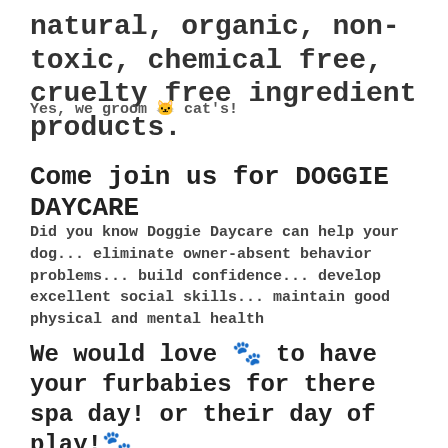natural, organic, non-toxic, chemical free, cruelty free ingredient products.
Yes, we groom 🐱 cat's!
Come join us for DOGGIE DAYCARE
Did you know Doggie Daycare can help your dog... eliminate owner-absent behavior problems... build confidence... develop excellent social skills... maintain good physical and mental health
We would love 🐾 to have your furbabies for there spa day! or their day of play!🐾